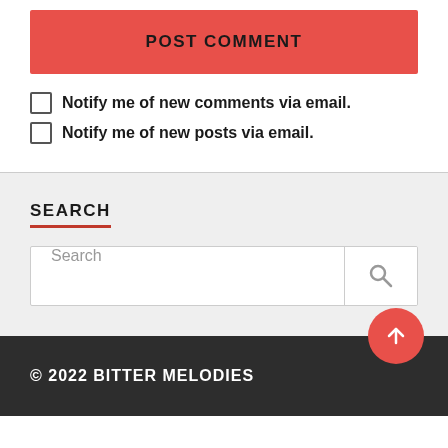POST COMMENT
Notify me of new comments via email.
Notify me of new posts via email.
SEARCH
Search
© 2022 BITTER MELODIES